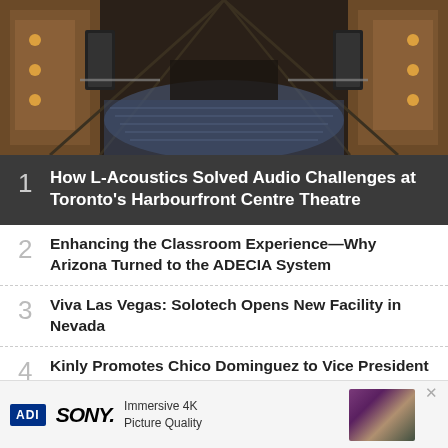[Figure (photo): Interior view of a modern theatre with tiered seating, warm lighting on wooden walls, and speaker arrays visible.]
1 How L-Acoustics Solved Audio Challenges at Toronto's Harbourfront Centre Theatre
2 Enhancing the Classroom Experience—Why Arizona Turned to the ADECIA System
3 Viva Las Vegas: Solotech Opens New Facility in Nevada
4 Kinly Promotes Chico Dominguez to Vice President of U.S. Service and Support
[Figure (advertisement): ADI and Sony advertisement banner showing Immersive 4K Picture Quality with an image of a Sony TV setup.]